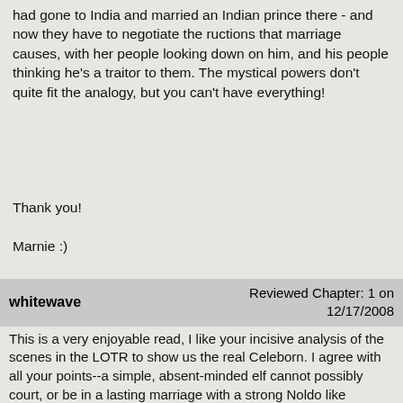had gone to India and married an Indian prince there - and now they have to negotiate the ructions that marriage causes, with her people looking down on him, and his people thinking he's a traitor to them. The mystical powers don't quite fit the analogy, but you can't have everything!
Thank you!
Marnie :)
whitewave	Reviewed Chapter: 1 on 12/17/2008
This is a very enjoyable read, I like your incisive analysis of the scenes in the LOTR to show us the real Celeborn. I agree with all your points--a simple, absent-minded elf cannot possibly court, or be in a lasting marriage with a strong Noldo like Galadriel. It was a shame that we saw so little of him in the books and the movie.
Author Reply: Thanks Whitewave! I'm afraid it's pretty obvious that Celeborn is my favourite elf, so it was a bit of a downer for me to start in a fandom which thought of him as a non-entity. That's what got me into the whole Sindar v. Noldor question and examining the very Western colonialist attitude of the Valinorean elves. I